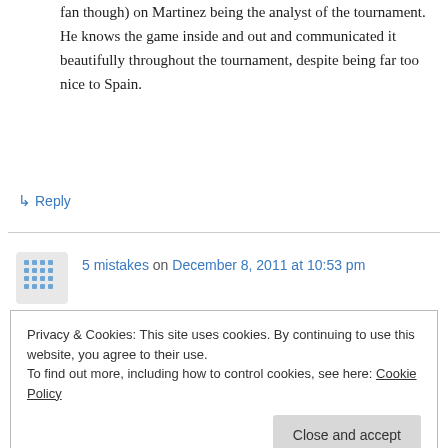fan though) on Martinez being the analyst of the tournament. He knows the game inside and out and communicated it beautifully throughout the tournament, despite being far too nice to Spain.
↳ Reply
5 mistakes on December 8, 2011 at 10:53 pm
Your blog is pretty interesting to me and your subject matter is very relevant. I was browsing
Privacy & Cookies: This site uses cookies. By continuing to use this website, you agree to their use.
To find out more, including how to control cookies, see here: Cookie Policy
Close and accept